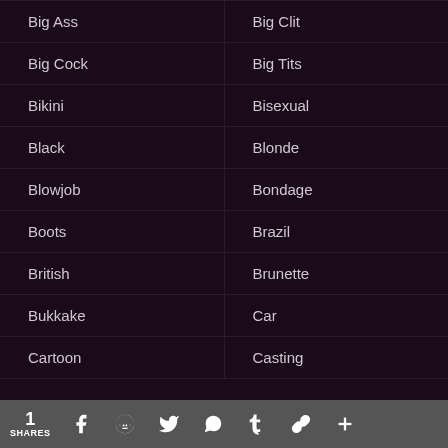Big Ass
Big Clit
Big Cock
Big Tits
Bikini
Bisexual
Black
Blonde
Blowjob
Bondage
Boots
Brazil
British
Brunette
Bukkake
Car
Cartoon
Casting
1 SHARES